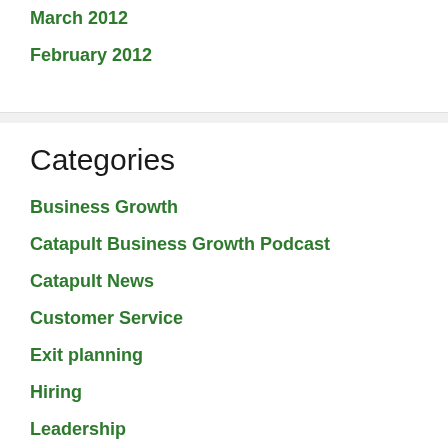March 2012
February 2012
Categories
Business Growth
Catapult Business Growth Podcast
Catapult News
Customer Service
Exit planning
Hiring
Leadership